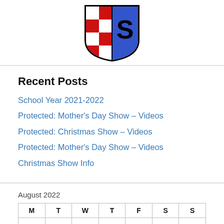[Figure (logo): School crest/shield logo with red and white checkered pattern on left half and blue on right half with letter S, outlined in black]
Recent Posts
School Year 2021-2022
Protected: Mother's Day Show – Videos
Protected: Christmas Show – Videos
Protected: Mother's Day Show – Videos
Christmas Show Info
August 2022
| M | T | W | T | F | S | S |
| --- | --- | --- | --- | --- | --- | --- |
| 1 | 2 | 3 | 4 | 5 | 6 | 7 |